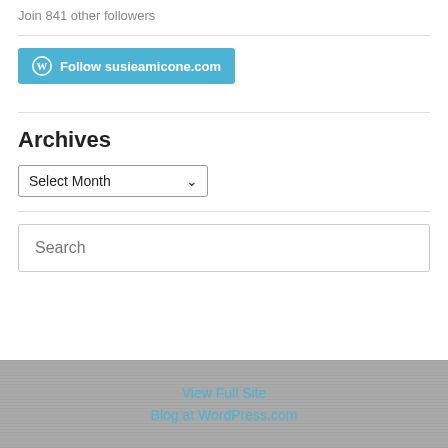Join 841 other followers
[Figure (screenshot): WordPress Follow button - blue button with WordPress logo and text 'Follow susieamicone.com']
Archives
Select Month dropdown
Search
View Full Site
Blog at WordPress.com